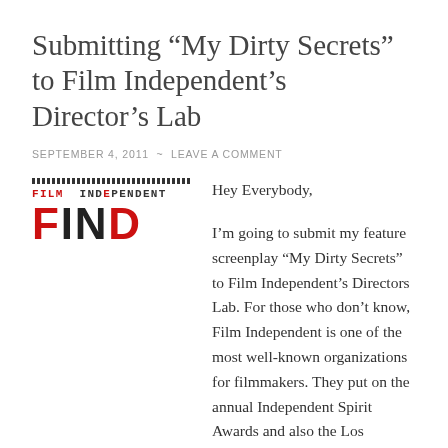Submitting “My Dirty Secrets” to Film Independent’s Director’s Lab
SEPTEMBER 4, 2011 ~ LEAVE A COMMENT
[Figure (logo): Film Independent FIND logo with dotted line above, 'FILM INDEPENDENT' in monospaced font with red 'FILM' text, and large 'FIND' letters with red F and D]
Hey Everybody,

I’m going to submit my feature screenplay “My Dirty Secrets” to Film Independent’s Directors Lab. For those who don’t know, Film Independent is one of the most well-known organizations for filmmakers. They put on the annual Independent Spirit Awards and also the Los Angeles Film Festival. The